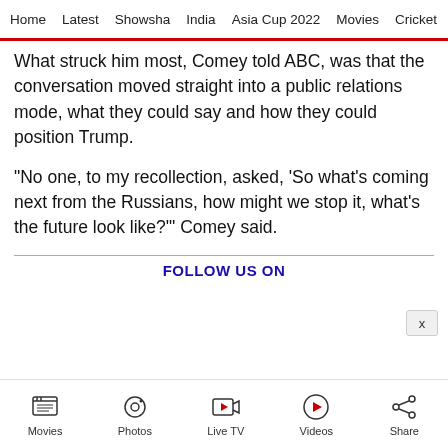Home  Latest  Showsha  India  Asia Cup 2022  Movies  Cricket
What struck him most, Comey told ABC, was that the conversation moved straight into a public relations mode, what they could say and how they could position Trump.
"No one, to my recollection, asked, 'So what's coming next from the Russians, how might we stop it, what's the future look like?'" Comey said.
FOLLOW US ON
Movies  Photos  Live TV  Videos  Share